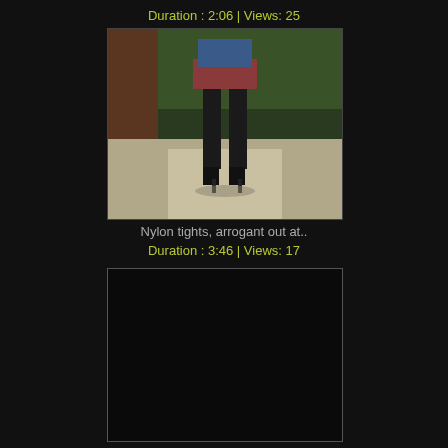Duration : 2:06 | Views: 25
[Figure (photo): Outdoor photo showing a person from behind wearing a short skirt, dark tights, and high heels on a gravel/concrete path with trees and a brick wall in background]
Nylon tights, arrogant out at..
Duration : 3:46 | Views: 17
[Figure (photo): Dark/black video thumbnail placeholder with thin border]